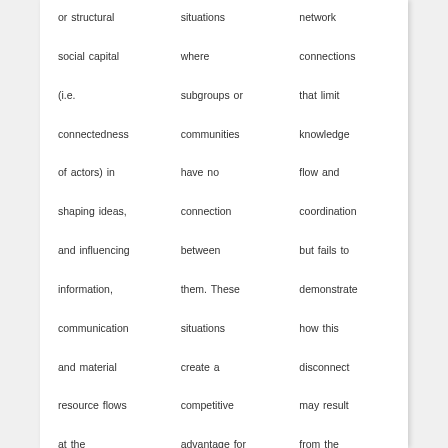or structural social capital (i.e. connectedness of actors) in shaping ideas, and influencing information, communication and material resource flows at the operational level
situations where subgroups or communities have no connection between them. These situations create a competitive advantage for and often abused by a third party that brokers the flow of
network connections that limit knowledge flow and coordination but fails to demonstrate how this disconnect may result from the absence of common understanding and rule making